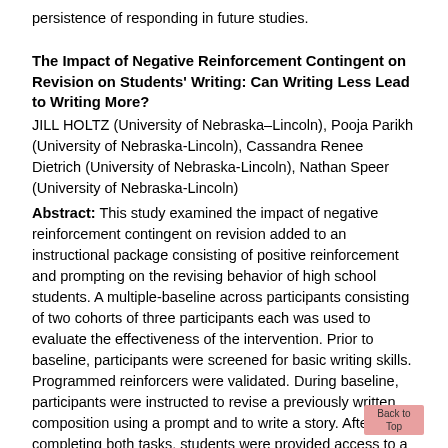persistence of responding in future studies.
The Impact of Negative Reinforcement Contingent on Revision on Students' Writing: Can Writing Less Lead to Writing More?
JILL HOLTZ (University of Nebraska–Lincoln), Pooja Parikh (University of Nebraska-Lincoln), Cassandra Renee Dietrich (University of Nebraska-Lincoln), Nathan Speer (University of Nebraska-Lincoln)
Abstract: This study examined the impact of negative reinforcement contingent on revision added to an instructional package consisting of positive reinforcement and prompting on the revising behavior of high school students. A multiple-baseline across participants consisting of two cohorts of three participants each was used to evaluate the effectiveness of the intervention. Prior to baseline, participants were screened for basic writing skills. Programmed reinforcers were validated. During baseline, participants were instructed to revise a previously written composition using a prompt and to write a story. After completing both tasks, students were provided access to a reinforcer. After stable baselines were achieved for each participant, negative reinforcement contingencies for revising were introduced. Students were instructed that they could escape writing a story contingent upon making a criterion number of revisions to their